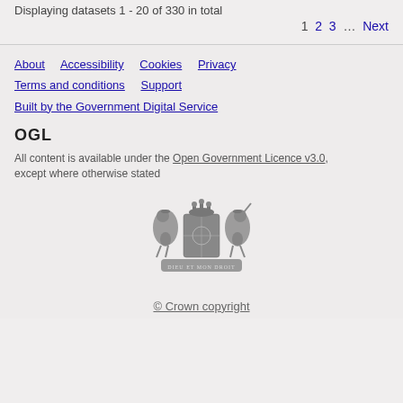Displaying datasets 1 - 20 of 330 in total
1  2  3  …  Next
About  Accessibility  Cookies  Privacy  Terms and conditions  Support  Built by the Government Digital Service
[Figure (logo): OGL logo text in bold black]
All content is available under the Open Government Licence v3.0, except where otherwise stated
[Figure (illustration): UK Government Royal Coat of Arms in grey]
© Crown copyright